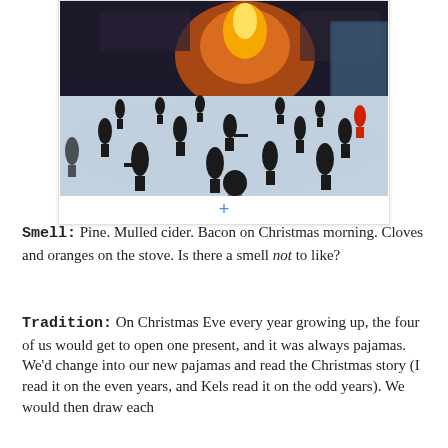[Figure (photo): Ice skating rink at Rockefeller Center at night with the golden Prometheus statue lit up in the background, people skating on the rink in winter clothing.]
Smell: Pine. Mulled cider. Bacon on Christmas morning. Cloves and oranges on the stove. Is there a smell not to like?
Tradition: On Christmas Eve every year growing up, the four of us would get to open one present, and it was always pajamas. We'd change into our new pajamas and read the Christmas story (I read it on the even years, and Kels read it on the odd years). We would then draw each